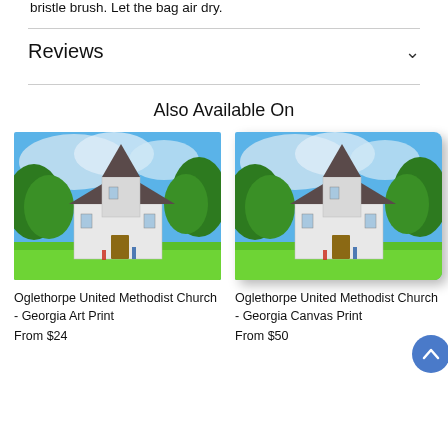bristle brush. Let the bag air dry.
Reviews
Also Available On
[Figure (illustration): Artistic painting of Oglethorpe United Methodist Church in Georgia — a white church with a dark steeple, surrounded by green trees and grass under a blue sky with clouds.]
Oglethorpe United Methodist Church - Georgia Art Print
From $24
[Figure (illustration): Artistic painting of Oglethorpe United Methodist Church in Georgia — a white church with a dark steeple, surrounded by green trees and grass under a blue sky with clouds. Canvas print version shown with wrapped edge effect.]
Oglethorpe United Methodist Church - Georgia Canvas Print
From $50